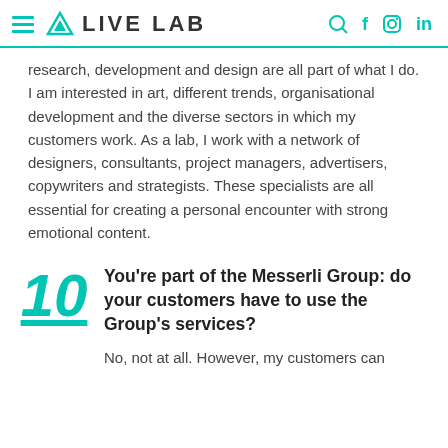LIVE LAB
research, development and design are all part of what I do. I am interested in art, different trends, organisational development and the diverse sectors in which my customers work. As a lab, I work with a network of designers, consultants, project managers, advertisers, copywriters and strategists. These specialists are all essential for creating a personal encounter with strong emotional content.
10 You're part of the Messerli Group: do your customers have to use the Group's services?
No, not at all. However, my customers can